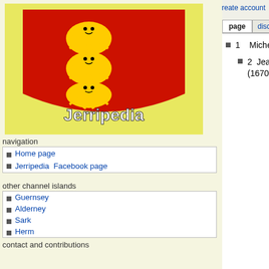Log in / create account
page | discussion | view source | history
[Figure (logo): Jerripedia logo — Jersey coat of arms (three golden lions on red shield) with 'Jerripedia' text overlay on yellow background]
navigation
Home page
Jerripedia Facebook page
other channel islands
Guernsey
Alderney
Sark
Herm
contact and contributions
Contact
User contributions
How the site works
search
1  Michel Bertaut (St L)
2  Jean Bertaut (St L) m (1670, St  L)
[Figure (illustration): Family tree illustration with green tree and rectangular boxes representing ancestors/descendants, brown roots at bottom]
This tree was added to the site in 2017. See an earlier tree, Descendants of Michel Bertaut, for a different descendant line. Please note that there is some doubt that Thomas at